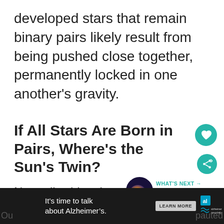developed stars that remain binary pairs likely result from being pushed close together, permanently locked in one another's gravity.
If All Stars Are Born in Pairs, Where's the Sun's Twin?
Naturally, this raises the question, "wh... is our twin, then?"
[Figure (other): Circular teal favourite/heart button icon]
[Figure (other): Circular teal share button icon]
[Figure (other): What's Next promo panel with star image thumbnail, label WHAT'S NEXT and title 'How Do Stars Die in Simpl...']
[Figure (other): Advertisement banner: It's time to talk about Alzheimer's. LEARN MORE button. Alzheimer's Association logo. Close button X.]